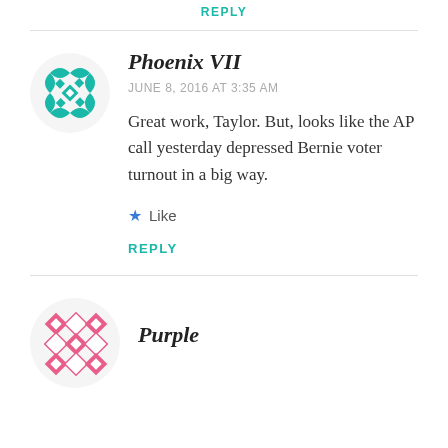REPLY
[Figure (illustration): Teal geometric avatar icon for user Phoenix VII]
Phoenix VII
JUNE 8, 2016 AT 3:35 AM
Great work, Taylor. But, looks like the AP call yesterday depressed Bernie voter turnout in a big way.
Like
REPLY
[Figure (illustration): Pink geometric avatar icon for user Purple]
Purple